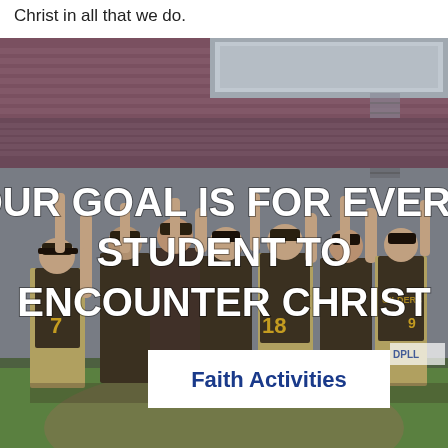Christ in all that we do.
[Figure (photo): A baseball team celebrating on a field in a stadium, players in blue and gold uniforms with numbers visible (7, 18, 9), arms raised in celebration. Large white bold text overlaid reads 'OUR GOAL IS FOR EVERY STUDENT TO ENCOUNTER CHRIST'. A white button box at the bottom reads 'Faith Activities' in dark blue bold text.]
Faith Activities